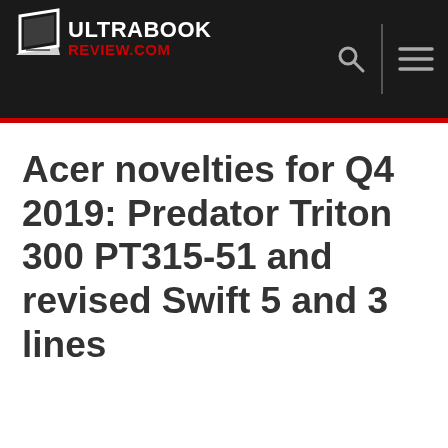ULTRABOOK REVIEW.COM
Acer novelties for Q4 2019: Predator Triton 300 PT315-51 and revised Swift 5 and 3 lines